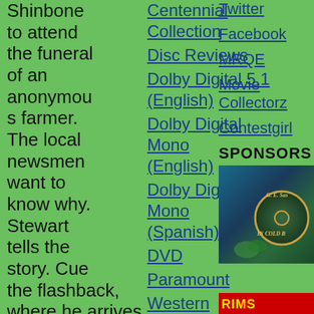Shinbone to attend the funeral of an anonymous farmer. The local newsmen want to know why. Stewart tells the story. Cue the flashback, where he arrives in a much more anarchic Shinbone as a naïve lawyer. Held up and beaten by the
Centennial Collection
Disc Reviews
Dolby Digital 5.1 (English)
Dolby Digital Mono (English)
Dolby Digital Mono (Spanish)
DVD
Paramount
Western
Twitter
Facebook
MRQE
Movie Collectorz
Contestgirl
SPONSORS
[Figure (photo): Book cover or sponsor image with circular design element and text reading G.E. Sasse In Cold Blood style]